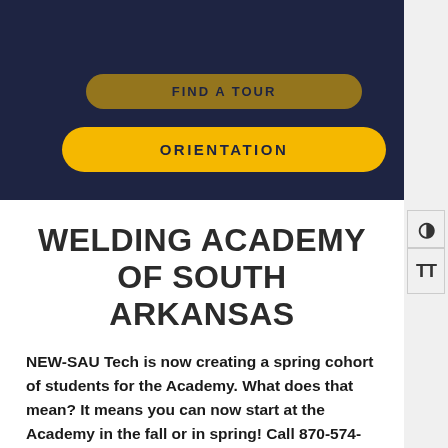[Figure (screenshot): Dark navy blue header section with two yellow pill-shaped buttons. Top button partially visible, bottom button reads ORIENTATION.]
WELDING ACADEMY OF SOUTH ARKANSAS
NEW-SAU Tech is now creating a spring cohort of students for the Academy. What does that mean? It means you can now start at the Academy in the fall or in spring! Call 870-574-4558 to learn more!
The Welding Academy of South Arkansas is a finishing school for students who already have basic